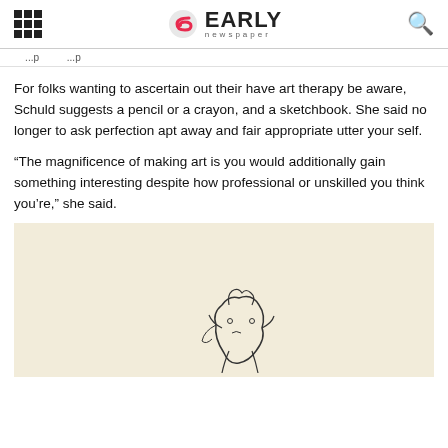EARLY newspaper
For folks wanting to ascertain out their have art therapy be aware, Schuld suggests a pencil or a crayon, and a sketchbook. She said no longer to ask perfection apt away and fair appropriate utter your self.
“The magnificence of making art is you would additionally gain something interesting despite how professional or unskilled you think you’re,” she said.
[Figure (illustration): A small sketch illustration of a creature or figure drawn in ink on a cream/beige background, positioned in the lower center of the image area.]